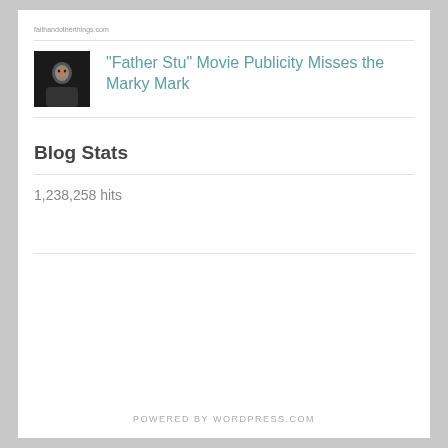faithandotherthings.com
[Figure (photo): Small square thumbnail photo of a man, dark background]
"Father Stu" Movie Publicity Misses the Marky Mark
Blog Stats
1,238,258 hits
POWERED BY WORDPRESS.COM